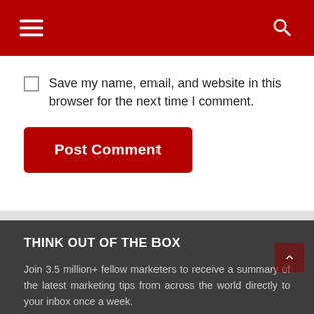Navigation bar with hamburger menu and search icon
Save my name, email, and website in this browser for the next time I comment.
Post Comment
THINK OUT OF THE BOX
Join 3.5 million+ fellow marketers to receive a summary of the latest marketing tips from across the world directly to your inbox once a week.
Name